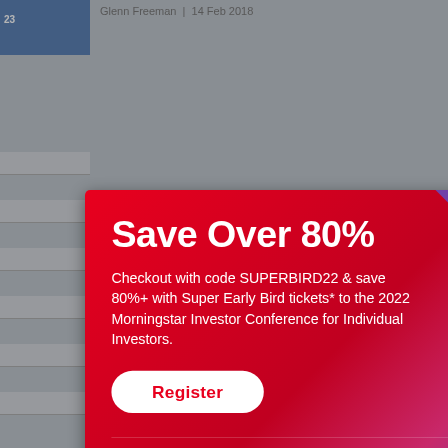Glenn Freeman | 14 Feb 2018
Some cost increases were non-recurring while others support growth, but w... 2018 earnings before interest, taxes, depreciation and amortisation forecast... says.
[Figure (screenshot): Morningstar promotional modal overlay on article page. Red gradient background modal with title 'Save Over 80%', promotional text about code SUPERBIRD22 for 80%+ discount on 2022 Morningstar Investor Conference for Individual Investors Super Early Bird tickets. White Register button. Footer with disclaimer text and Morningstar logo. Close button top right.]
Listen to Morningstar Australia's Investing Com...